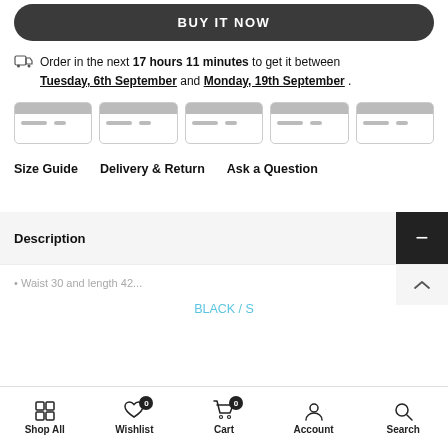BUY IT NOW
Order in the next 17 hours 11 minutes to get it between Tuesday, 6th September and Monday, 19th September .
[Figure (other): Five payment card icons in a row]
Size Guide   Delivery & Return   Ask a Question
Description
• Waist 30 and length 42...
BLACK / S
Shop All   Wishlist 0   Cart 0   Account   Search